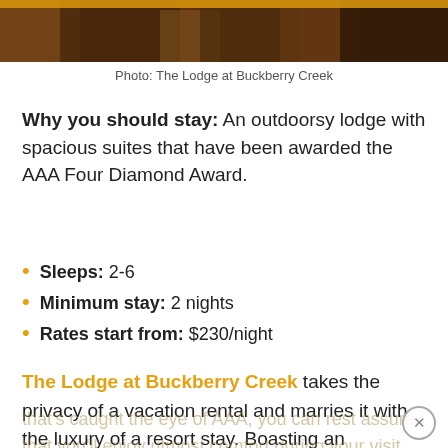[Figure (photo): Photo of The Lodge at Buckberry Creek — dark warm-toned interior/exterior lodge shot]
Photo: The Lodge at Buckberry Creek
Why you should stay: An outdoorsy lodge with spacious suites that have been awarded the AAA Four Diamond Award.
Sleeps: 2-6
Minimum stay: 2 nights
Rates start from: $230/night
The Lodge at Buckberry Creek takes the privacy of a vacation rental and marries it with the luxury of a resort stay. Boasting an impressive four-star rating that's caught the eye of AAA, you can rest assured that you'll enjoy utmost comfort during your visit.